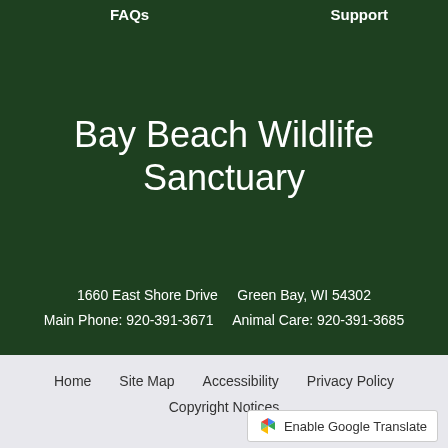FAQs    Support
Bay Beach Wildlife Sanctuary
1660 East Shore Drive    Green Bay, WI 54302
Main Phone: 920-391-3671    Animal Care: 920-391-3685
Home    Site Map    Accessibility    Privacy Policy    Copyright Notices
[Figure (logo): Google Translate button with colorful Google icon and text 'Enable Google Translate']